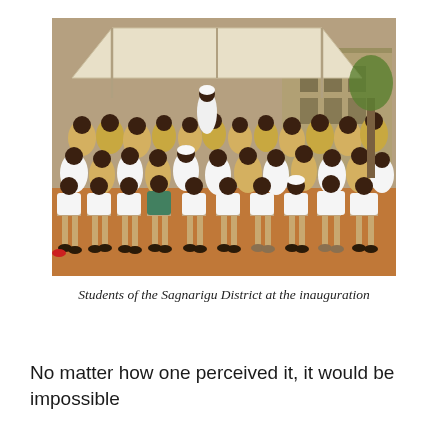[Figure (photo): A large group of school children in white and yellow uniforms seated on folding chairs outdoors at a ceremony, with adults and more students visible in the background under a canopy tent.]
Students of the Sagnarigu District at the inauguration
No matter how one perceived it, it would be impossible